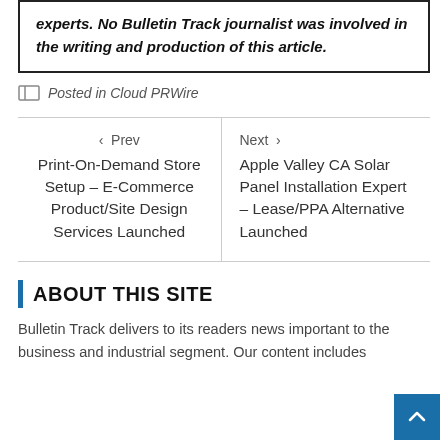experts. No Bulletin Track journalist was involved in the writing and production of this article.
Posted in Cloud PRWire
< Prev
Print-On-Demand Store Setup – E-Commerce Product/Site Design Services Launched
Next >
Apple Valley CA Solar Panel Installation Expert – Lease/PPA Alternative Launched
ABOUT THIS SITE
Bulletin Track delivers to its readers news important to the business and industrial segment. Our content includes